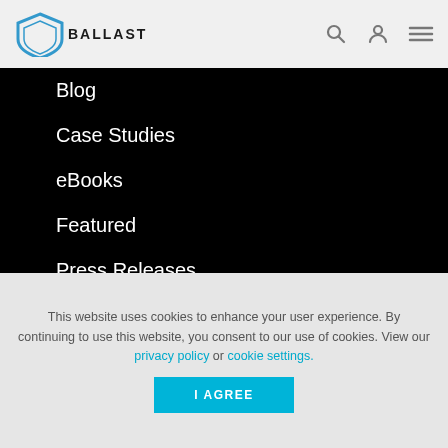Ballast — navigation header with logo, search, user, and menu icons
Blog
Case Studies
eBooks
Featured
Press Releases
Product News
Videos
This website uses cookies to enhance your user experience. By continuing to use this website, you consent to our use of cookies. View our privacy policy or cookie settings.
I AGREE